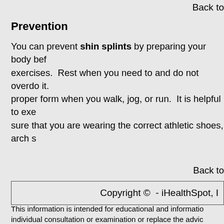Back to
Prevention
You can prevent shin splints by preparing your body before exercises.  Rest when you need to and do not overdo it. proper form when you walk, jog, or run.  It is helpful to exe sure that you are wearing the correct athletic shoes, arch s
Back to
Copyright ©  - iHealthSpot, I
This information is intended for educational and informatio individual consultation or examination or replace the advic relied upon to determine diagnosis or course of treatment.
The iHealthSpot patient education library was written colla includes Senior Medical Authors Dr. Mary Car-Blanchard, O editorial advisors: Steve Meadows, MD, Ernie F. Soto, DDS Christopher M. Nolte, MD, David Applebaum, MD, Jonatha content complies with the HONcode standard for trusworth development on September 1, 2005 with the latest update